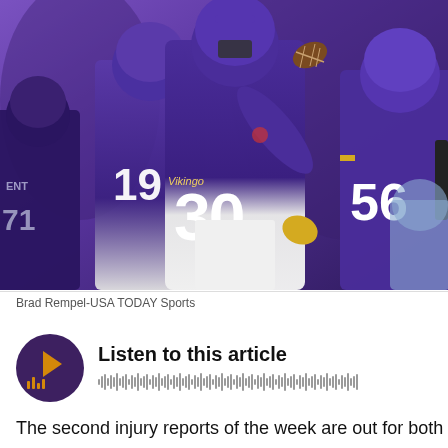[Figure (photo): Minnesota Vikings players in purple uniforms on the field; player #30 is in the foreground throwing or celebrating, player #19 visible behind, player #56 on the right, player #71 on far left. A football is visible in the air.]
Brad Rempel-USA TODAY Sports
[Figure (other): Audio player widget with dark purple circular play button showing a play arrow and audio bars icon in orange/gold, with text 'Listen to this article' and a waveform visualization]
The second injury reports of the week are out for both